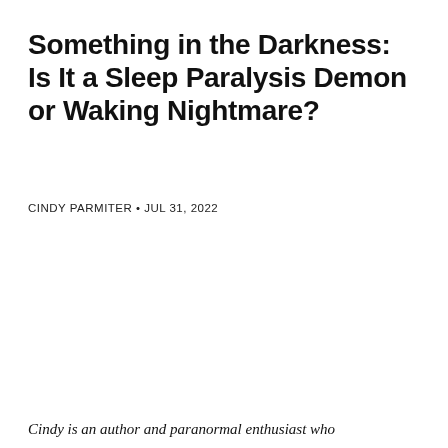Something in the Darkness: Is It a Sleep Paralysis Demon or Waking Nightmare?
CINDY PARMITER • JUL 31, 2022
Cindy is an author and paranormal enthusiast who